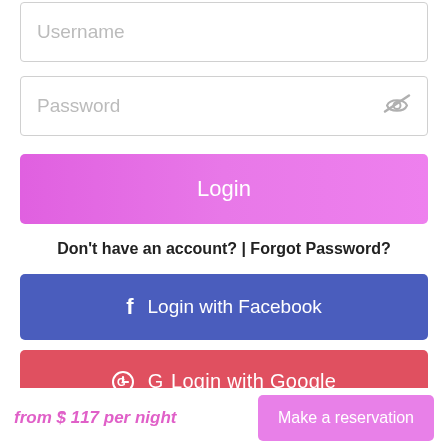[Figure (screenshot): Username input field with placeholder text]
[Figure (screenshot): Password input field with placeholder text and eye/hide icon]
[Figure (screenshot): Pink Login button]
Don't have an account? | Forgot Password?
[Figure (screenshot): Blue Login with Facebook button with Facebook icon]
[Figure (screenshot): Red Login with Google button with Google icon]
[Figure (screenshot): Cyan Login with Twitter button with Twitter bird icon]
from $ 117 per night    Make a reservation